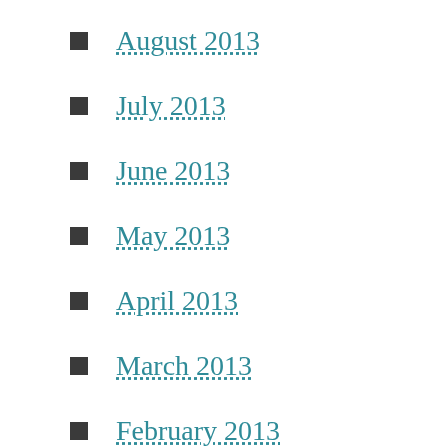August 2013
July 2013
June 2013
May 2013
April 2013
March 2013
February 2013
January 2013
November 2012
October 2012
September 2012
August 2012
July 2012
June 2012
May 2012
March 2012